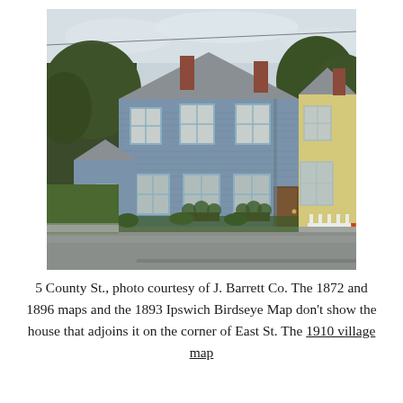[Figure (photo): Exterior photo of 5 County St., a two-story blue clapboard colonial house on a street corner. A yellow house is visible to the right. Overcast sky, trees in background. Photo courtesy of J. Barrett Co.]
5 County St., photo courtesy of J. Barrett Co. The 1872 and 1896 maps and the 1893 Ipswich Birdseye Map don't show the house that adjoins it on the corner of East St. The 1910 village map